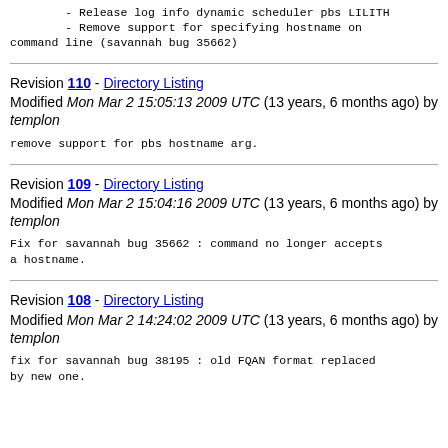- Release log info dynamic scheduler pbs LILITH
        - Remove support for specifying hostname on command line (savannah bug 35662)
Revision 110 - Directory Listing
Modified Mon Mar 2 15:05:13 2009 UTC (13 years, 6 months ago) by templon
remove support for pbs hostname arg.
Revision 109 - Directory Listing
Modified Mon Mar 2 15:04:16 2009 UTC (13 years, 6 months ago) by templon
Fix for savannah bug 35662 : command no longer accepts a hostname.
Revision 108 - Directory Listing
Modified Mon Mar 2 14:24:02 2009 UTC (13 years, 6 months ago) by templon
fix for savannah bug 38195 : old FQAN format replaced by new one.